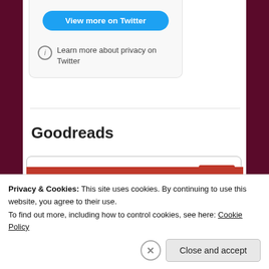[Figure (screenshot): A blue rounded button labeled 'View more on Twitter' inside a light grey rounded card widget]
Learn more about privacy on Twitter
Goodreads
Tell Me Everything: The Story of a Private
Privacy & Cookies: This site uses cookies. By continuing to use this website, you agree to their use.
To find out more, including how to control cookies, see here: Cookie Policy
Close and accept